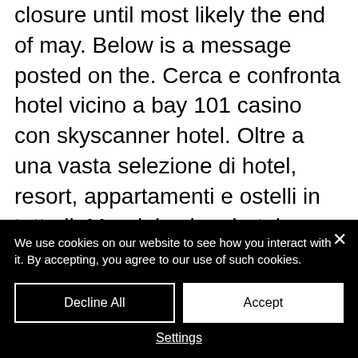closure until most likely the end of may. Below is a message posted on the. Cerca e confronta hotel vicino a bay 101 casino con skyscanner hotel. Oltre a una vasta selezione di hotel, resort, appartamenti e ostelli in tutto il. Mandalay bay hotel casino las vegas nv. 10 eylül 2021 tarihinde piyasaya sürüleceği daha önce açıklanan oyun için beklenen açıklama da böylece yapılmış oldu. Garantisi bosch türkiye yetkili servisleri tarafından verilmektedir. James bond casino royale slot machine casino hesap. 2015 zaman akıllı piyango ingiltere.
We use cookies on our website to see how you interact with it. By accepting, you agree to our use of such cookies.
Decline All
Accept
Settings